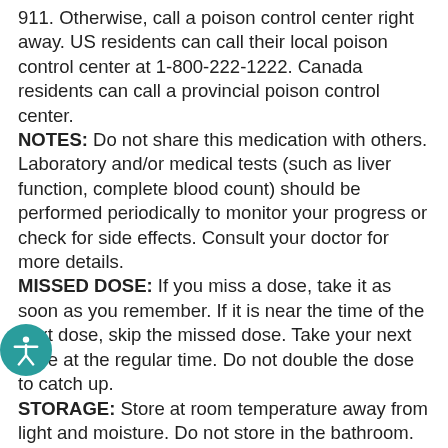911. Otherwise, call a poison control center right away. US residents can call their local poison control center at 1-800-222-1222. Canada residents can call a provincial poison control center. NOTES: Do not share this medication with others. Laboratory and/or medical tests (such as liver function, complete blood count) should be performed periodically to monitor your progress or check for side effects. Consult your doctor for more details. MISSED DOSE: If you miss a dose, take it as soon as you remember. If it is near the time of the next dose, skip the missed dose. Take your next dose at the regular time. Do not double the dose to catch up. STORAGE: Store at room temperature away from light and moisture. Do not store in the bathroom. Keep all medications away from children and pets. Do not flush medications down the toilet or pour them into a drain unless instructed to do so. Properly discard this product when it is expired or no longer needed. Consult your pharmacist or local waste disposal company. Information last revised June 2018. Copyright(c) 2018